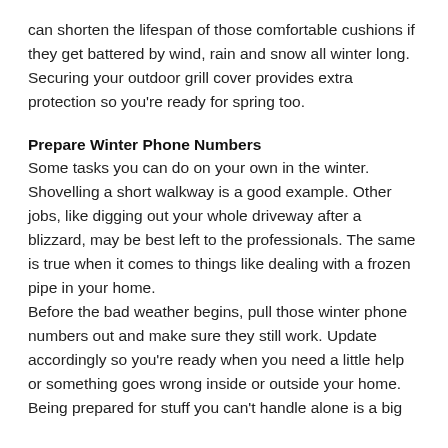can shorten the lifespan of those comfortable cushions if they get battered by wind, rain and snow all winter long. Securing your outdoor grill cover provides extra protection so you're ready for spring too.
Prepare Winter Phone Numbers
Some tasks you can do on your own in the winter. Shovelling a short walkway is a good example. Other jobs, like digging out your whole driveway after a blizzard, may be best left to the professionals. The same is true when it comes to things like dealing with a frozen pipe in your home.
Before the bad weather begins, pull those winter phone numbers out and make sure they still work. Update accordingly so you're ready when you need a little help or something goes wrong inside or outside your home.
Being prepared for stuff you can't handle alone is a big